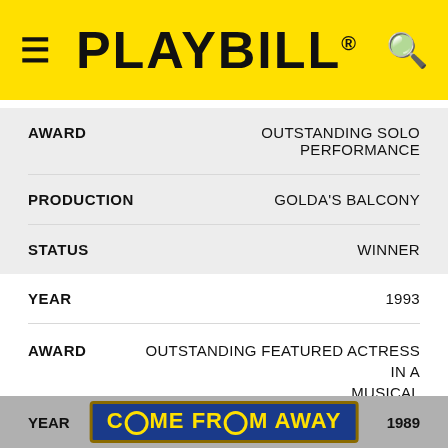PLAYBILL
| Field | Value |
| --- | --- |
| AWARD | OUTSTANDING SOLO PERFORMANCE |
| PRODUCTION | GOLDA'S BALCONY |
| STATUS | WINNER |
| Field | Value |
| --- | --- |
| YEAR | 1993 |
| AWARD | OUTSTANDING FEATURED ACTRESS IN A MUSICAL |
| PRODUCTION | HELLO MUDDAH, HELLO FADDUH |
| STATUS | NOMINEE |
[Figure (screenshot): Come From Away advertisement banner overlay in blue and yellow at bottom of page]
YEAR 1989